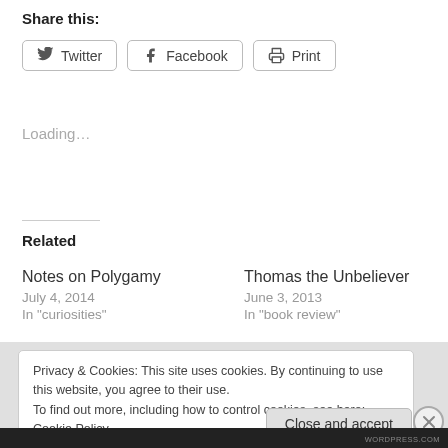Share this:
Twitter  Facebook  Print
Loading…
Related
Notes on Polygamy
July 4, 2014
In "curiosities"
Thomas the Unbeliever
June 3, 2013
In "book review"
Privacy & Cookies: This site uses cookies. By continuing to use this website, you agree to their use.
To find out more, including how to control cookies, see here: Cookie Policy
Close and accept